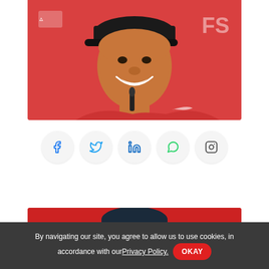[Figure (photo): Person smiling at a press conference, wearing a red Nike polo shirt and dark cap, with a red background featuring partial sponsor logos. A microphone is visible in front.]
[Figure (infographic): Row of five social media share buttons: Facebook, Twitter, LinkedIn, WhatsApp, Instagram — each as a circular light-grey icon button.]
[Figure (photo): Partial bottom image showing a person from behind wearing a dark cap with a TW logo, red background.]
By navigating our site, you agree to allow us to use cookies, in accordance with our Privacy Policy. OKAY